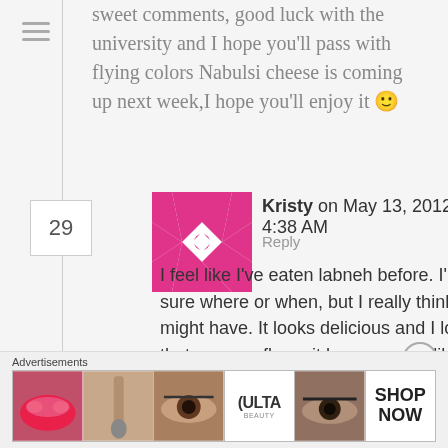sweet comments, good luck with the university and I hope you'll pass with flying colors Nabulsi cheese is coming up next week,I hope you'll enjoy it 🙂
29
[Figure (illustration): Pink and white quilt-pattern avatar icon for user Kristy]
Kristy on May 13, 2012 at 4:38 AM
Reply ★ Like
I feel like I've eaten labneh before. I'm not sure where or when, but I really think I might have. It looks delicious and I love that you can flavor it however you like. Are you girls about to wrap up school for summer too?
Advertisements
[Figure (illustration): ULTA Beauty advertisement banner with makeup imagery and SHOP NOW call to action]